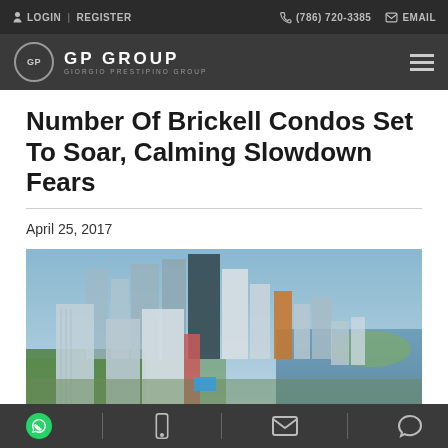LOGIN | REGISTER   (786) 720-3385   EMAIL
GP GROUP GIORGIO PRESTIPINO GROUP
Number Of Brickell Condos Set To Soar, Calming Slowdown Fears
April 25, 2017
[Figure (photo): Aerial view of Brickell, Miami skyline with high-rise condos and waterfront]
WhatsApp | Phone | Email | Chat icons toolbar